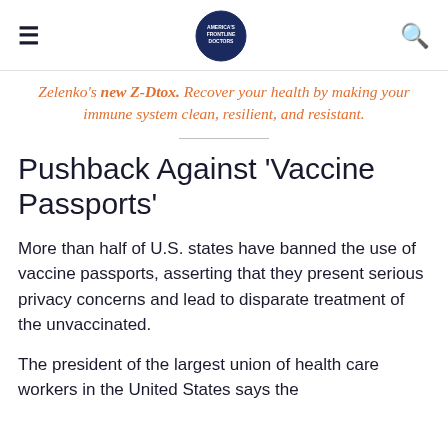≡  [logo]  🔍
Zelenko's new Z-Dtox. Recover your health by making your immune system clean, resilient, and resistant.
Pushback Against 'Vaccine Passports'
More than half of U.S. states have banned the use of vaccine passports, asserting that they present serious privacy concerns and lead to disparate treatment of the unvaccinated.
The president of the largest union of health care workers in the United States says the